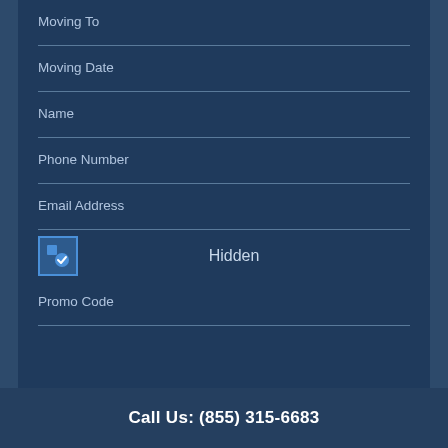Moving To
Moving Date
Name
Phone Number
Email Address
Hidden
Promo Code
Call Us: (855) 315-6683 SUBMIT